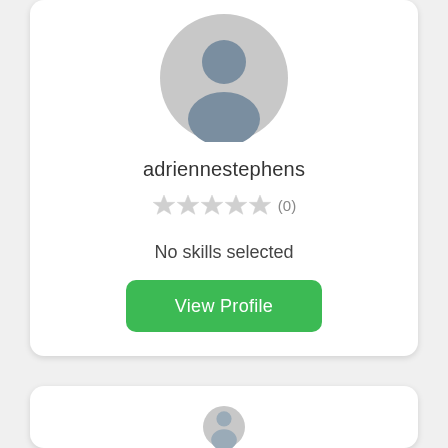[Figure (illustration): Circular grey silhouette avatar placeholder for user profile photo]
adriennestephens
[Figure (other): 5-star rating display showing 5 empty/grey stars with (0) rating count]
No skills selected
View Profile
[Figure (illustration): Partial circular grey silhouette avatar at bottom of page for second user card]